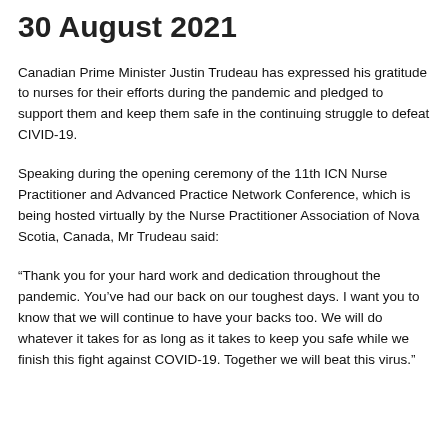30 August 2021
Canadian Prime Minister Justin Trudeau has expressed his gratitude to nurses for their efforts during the pandemic and pledged to support them and keep them safe in the continuing struggle to defeat CIVID-19.
Speaking during the opening ceremony of the 11th ICN Nurse Practitioner and Advanced Practice Network Conference, which is being hosted virtually by the Nurse Practitioner Association of Nova Scotia, Canada, Mr Trudeau said:
“Thank you for your hard work and dedication throughout the pandemic. You’ve had our back on our toughest days. I want you to know that we will continue to have your backs too. We will do whatever it takes for as long as it takes to keep you safe while we finish this fight against COVID-19. Together we will beat this virus.”